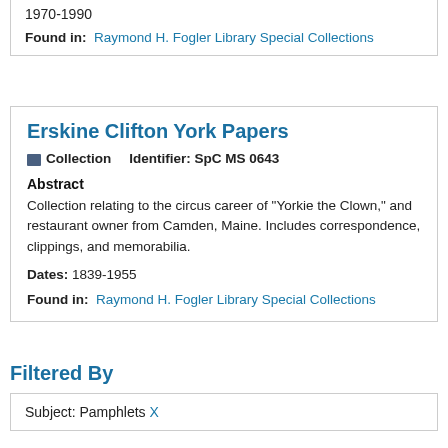1970-1990
Found in: Raymond H. Fogler Library Special Collections
Erskine Clifton York Papers
Collection   Identifier: SpC MS 0643
Abstract
Collection relating to the circus career of "Yorkie the Clown," and restaurant owner from Camden, Maine. Includes correspondence, clippings, and memorabilia.
Dates: 1839-1955
Found in: Raymond H. Fogler Library Special Collections
Filtered By
Subject: Pamphlets X